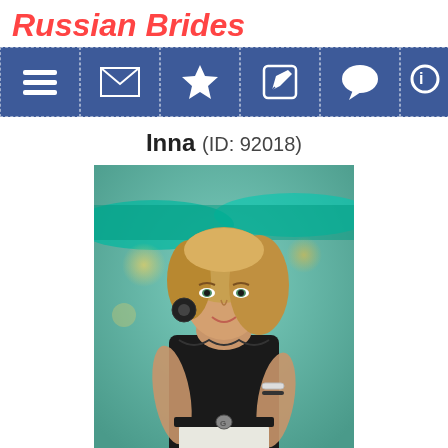Russian Brides
[Figure (screenshot): Navigation bar with icons: hamburger menu, envelope/mail, star, edit/pencil, speech bubble, and a partially visible icon on blue background]
Inna (ID: 92018)
[Figure (photo): A young blonde woman in a black tank top and white jeans with a Gucci belt, wearing large circular earrings and bracelets, posing outdoors with teal/green blurred background]